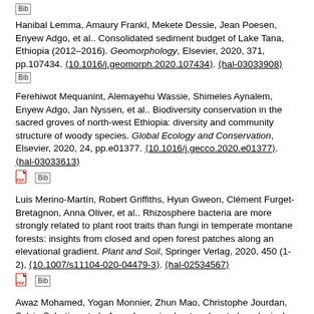Hanibal Lemma, Amaury Frankl, Mekete Dessie, Jean Poesen, Enyew Adgo, et al.. Consolidated sediment budget of Lake Tana, Ethiopia (2012–2016). Geomorphology, Elsevier, 2020, 371, pp.107434. ⟨10.1016/j.geomorph.2020.107434⟩. ⟨hal-03033908⟩
Ferehiwot Mequanint, Alemayehu Wassie, Shimeles Aynalem, Enyew Adgo, Jan Nyssen, et al.. Biodiversity conservation in the sacred groves of north-west Ethiopia: diversity and community structure of woody species. Global Ecology and Conservation, Elsevier, 2020, 24, pp.e01377. ⟨10.1016/j.gecco.2020.e01377⟩. ⟨hal-03033613⟩
Luis Merino-Martín, Robert Griffiths, Hyun Gweon, Clément Furget-Bretagnon, Anna Oliver, et al.. Rhizosphere bacteria are more strongly related to plant root traits than fungi in temperate montane forests: insights from closed and open forest patches along an elevational gradient. Plant and Soil, Springer Verlag, 2020, 450 (1-2), ⟨10.1007/s11104-020-04479-3⟩. ⟨hal-02534567⟩
Awaz Mohamed, Yogan Monnier, Zhun Mao, Christophe Jourdan, Sylvie Sabatier, et al.. Asynchrony in shoot and root phenological relationships in hybrid walnut. New Forests, Springer Verlag, 2020,